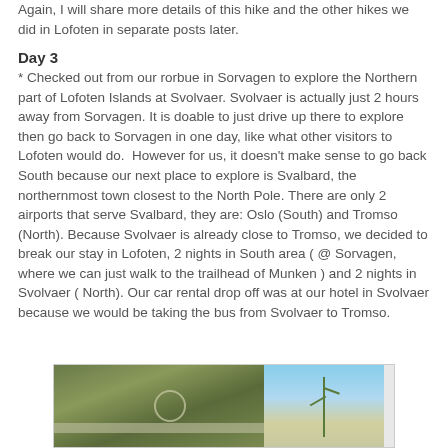Again, I will share more details of this hike and the other hikes we did in Lofoten in separate posts later.
Day 3
* Checked out from our rorbue in Sorvagen to explore the Northern part of Lofoten Islands at Svolvaer. Svolvaer is actually just 2 hours away from Sorvagen. It is doable to just drive up there to explore then go back to Sorvagen in one day, like what other visitors to Lofoten would do.  However for us, it doesn't make sense to go back South because our next place to explore is Svalbard, the northernmost town closest to the North Pole. There are only 2 airports that serve Svalbard, they are: Oslo (South) and Tromso (North). Because Svolvaer is already close to Tromso, we decided to break our stay in Lofoten, 2 nights in South area ( @ Sorvagen, where we can just walk to the trailhead of Munken ) and 2 nights in Svolvaer ( North). Our car rental drop off was at our hotel in Svolvaer because we would be taking the bus from Svolvaer to Tromso.
[Figure (photo): Two photos side by side: left shows a road with a circular sign marker amid green vegetation; right shows tall plants or grass against a blue sky.]